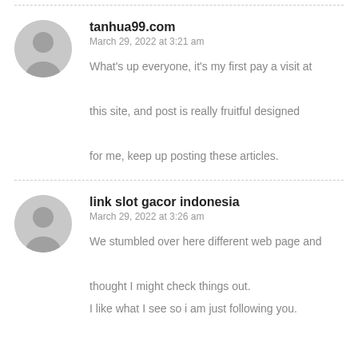tanhua99.com
March 29, 2022 at 3:21 am
What's up everyone, it's my first pay a visit at this site, and post is really fruitful designed for me, keep up posting these articles.
link slot gacor indonesia
March 29, 2022 at 3:26 am
We stumbled over here different web page and thought I might check things out. I like what I see so i am just following you.